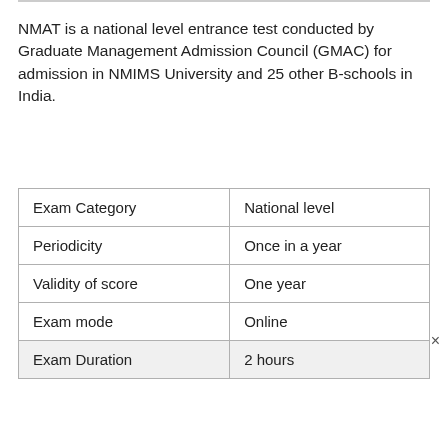NMAT is a national level entrance test conducted by Graduate Management Admission Council (GMAC) for admission in NMIMS University and 25 other B-schools in India.
| Exam Category | National level |
| Periodicity | Once in a year |
| Validity of score | One year |
| Exam mode | Online |
| Exam Duration | 2 hours |